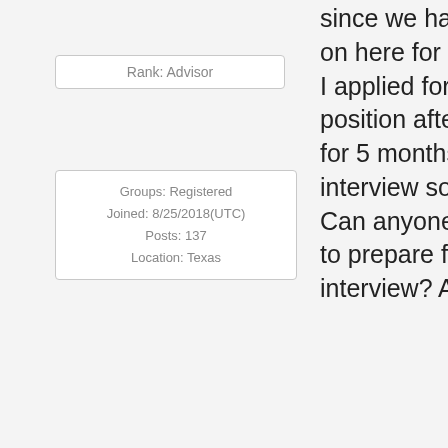Rank: Advisor
Groups: Registered
Joined: 8/25/2018(UTC)
Posts: 137
Location: Texas
Was thanked: 29 time(s) in 19 post(s)
since we have connected on here for ISO positions.
I applied for an ISO1 position after being an ISA for 5 months. I have an interview soon for ISO1. Can anyone help as to how to prepare for the interview? Any tips?
DSVET
#9240 Posted : 5 months ago